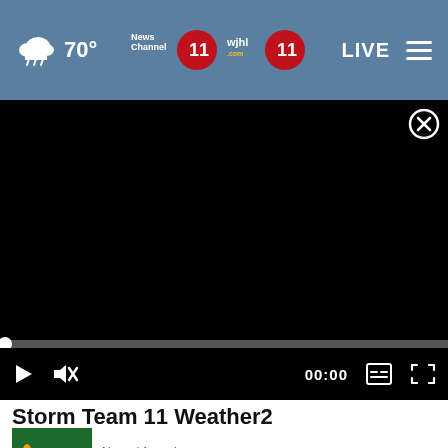70° News Channel 11 wjhl.com 11 LIVE
[Figure (screenshot): Black video player with close (X) button in top-right corner, a progress bar at 00:00, playback controls including play button, mute button, time display 00:00, subtitles icon, and fullscreen icon]
Storm Team 11 Weather2
[Figure (photo): Thumbnail of football players on a blue field]
News / 1 week ago